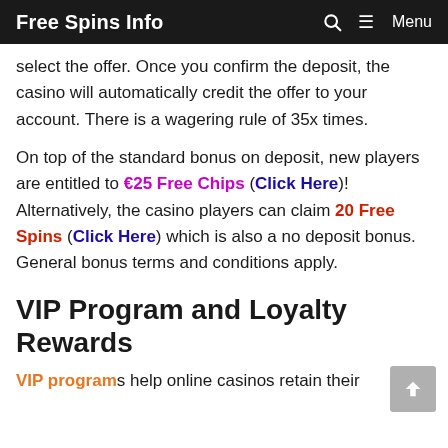Free Spins Info  🔍  ≡ Menu
select the offer. Once you confirm the deposit, the casino will automatically credit the offer to your account. There is a wagering rule of 35x times.
On top of the standard bonus on deposit, new players are entitled to €25 Free Chips (Click Here)! Alternatively, the casino players can claim 20 Free Spins (Click Here) which is also a no deposit bonus. General bonus terms and conditions apply.
VIP Program and Loyalty Rewards
VIP programs help online casinos retain their